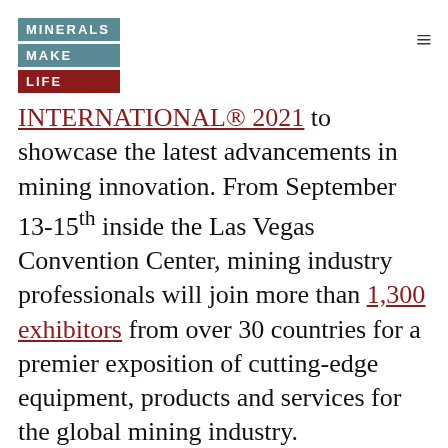MINERALS MAKE LIFE [logo]
INTERNATIONAL® 2021 to showcase the latest advancements in mining innovation. From September 13-15th inside the Las Vegas Convention Center, mining industry professionals will join more than 1,300 exhibitors from over 30 countries for a premier exposition of cutting-edge equipment, products and services for the global mining industry. Rescheduled from last year due to the pandemic, this year's in-person event will safely convene thousands of mining's decision-makers for three days of networking, learning and collaboration